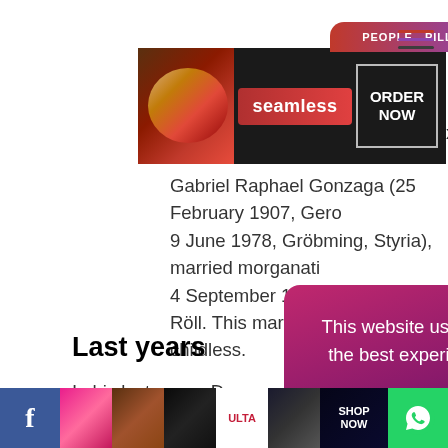[Figure (screenshot): People pill navigation tab at top, partially visible]
[Figure (photo): Seamless food delivery advertisement banner with pizza image and ORDER NOW button]
Gabriel Raphael Gonzaga (25 February 1907, Gero... 9 June 1978, Gröbming, Styria), married morganati... 4 September 1939 to Irmgard Röll. This marriage w... childless.
Last years
[Figure (photo): Thumbnail image of Tomb of Prince Augusto Leopoldo in G...]
Tomb of Prince Augusto Leopoldo in G...
In his last years, Dom Augusto deve... the typical ta... ction happening to... lly acclimatized t... close relat... his
[Figure (screenshot): Cookie consent banner: This website uses cookies to ensure you get the best experience on our website. Learn more / Got it!]
[Figure (screenshot): Bottom advertisement bar with Facebook icon, beauty product ads, ULTA logo, SHOP NOW, WhatsApp icon]